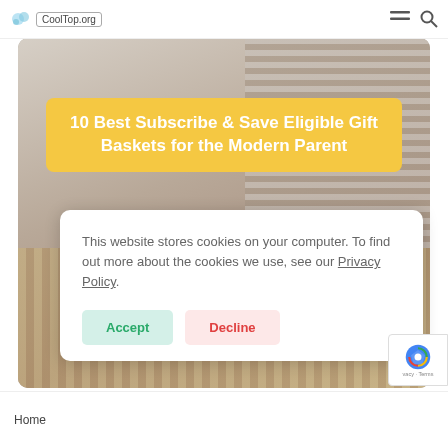CoolTop.org
[Figure (photo): Hero image of a woven gift basket with ribbed texture, beige and natural tones, with a teal accent visible at the right side]
10 Best Subscribe & Save Eligible Gift Baskets for the Modern Parent
This website stores cookies on your computer. To find out more about the cookies we use, see our Privacy Policy
Accept
Decline
Home